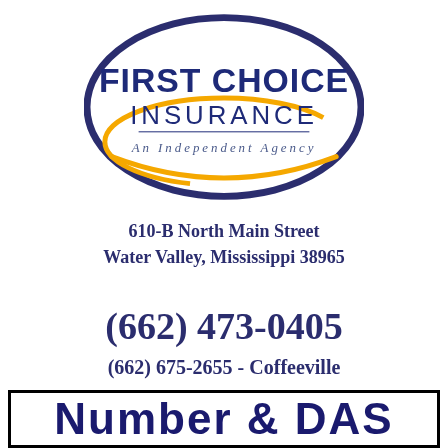[Figure (logo): First Choice Insurance - An Independent Agency logo with blue oval outline and gold/yellow arc at bottom]
610-B North Main Street
Water Valley, Mississippi 38965
(662) 473-0405
(662) 675-2655 - Coffeeville
Number & DAS (partially visible at bottom)